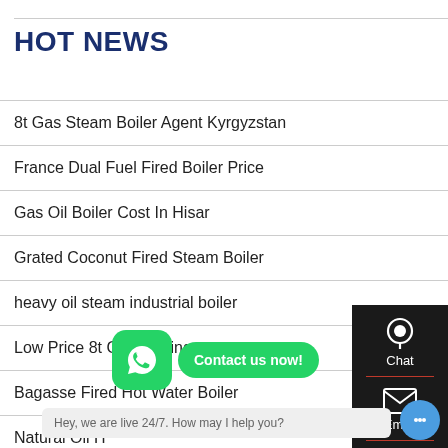HOT NEWS
8t Gas Steam Boiler Agent Kyrgyzstan
France Dual Fuel Fired Boiler Price
Gas Oil Boiler Cost In Hisar
Grated Coconut Fired Steam Boiler
heavy oil steam industrial boiler
Low Price 8t Condensing [ist...] t
Bagasse Fired Hot Water Boiler
Natural Oil H...
[Figure (screenshot): Sidebar overlay with Chat icon, Email icon, and scroll-to-top arrow on dark background. WhatsApp popup with green icon and 'Contact us now!' bubble. Live chat tooltip: 'Hey, we are live 24/7. How may I help you?']